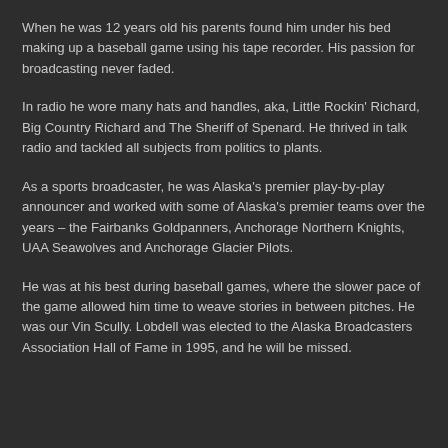When he was 12 years old his parents found him under his bed making up a baseball game using his tape recorder. His passion for broadcasting never faded.
In radio he wore many hats and handles, aka, Little Rockin' Richard, Big Country Richard and The Sheriff of Spenard. He thrived in talk radio and tackled all subjects from politics to plants.
As a sports broadcaster, he was Alaska's premier play-by-play announcer and worked with some of Alaska's premier teams over the years – the Fairbanks Goldpanners, Anchorage Northern Knights, UAA Seawolves and Anchorage Glacier Pilots.
He was at his best during baseball games, where the slower pace of the game allowed him time to weave stories in between pitches. He was our Vin Scully. Lobdell was elected to the Alaska Broadcasters Association Hall of Fame in 1995, and he will be missed.